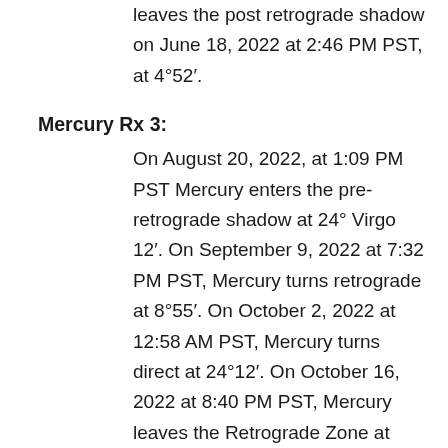leaves the post retrograde shadow on June 18, 2022 at 2:46 PM PST, at 4°52′.
Mercury Rx 3:
On August 20, 2022, at 1:09 PM PST Mercury enters the pre-retrograde shadow at 24° Virgo 12′. On September 9, 2022 at 7:32 PM PST, Mercury turns retrograde at 8°55′. On October 2, 2022 at 12:58 AM PST, Mercury turns direct at 24°12′. On October 16, 2022 at 8:40 PM PST, Mercury leaves the Retrograde Zone at 8°55′
Mercury Rx 4:
On December 12, 2022 at 3:26 AM PDT, Mercury enters the pre-retrograde shadow